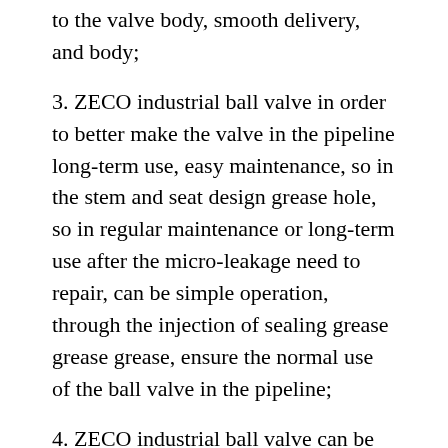to the valve body, smooth delivery, and body;
3. ZECO industrial ball valve in order to better make the valve in the pipeline long-term use, easy maintenance, so in the stem and seat design grease hole, so in regular maintenance or long-term use after the micro-leakage need to repair, can be simple operation, through the injection of sealing grease grease grease, ensure the normal use of the ball valve in the pipeline;
4. ZECO industrial ball valve can be coated with an epoxy coating of up to 1500μm in thickness, depending on customer requirements, in order to better protect the valve against corrosion. This process can effectively prevent the ball valve in